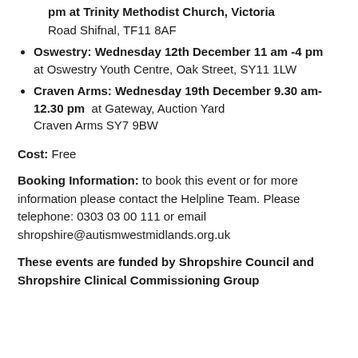pm at Trinity Methodist Church, Victoria Road Shifnal, TF11 8AF
Oswestry: Wednesday 12th December 11 am -4 pm at Oswestry Youth Centre, Oak Street, SY11 1LW
Craven Arms: Wednesday 19th December 9.30 am-12.30 pm at Gateway, Auction Yard Craven Arms SY7 9BW
Cost: Free
Booking Information: to book this event or for more information please contact the Helpline Team. Please telephone: 0303 03 00 111 or email shropshire@autismwestmidlands.org.uk
These events are funded by Shropshire Council and Shropshire Clinical Commissioning Group